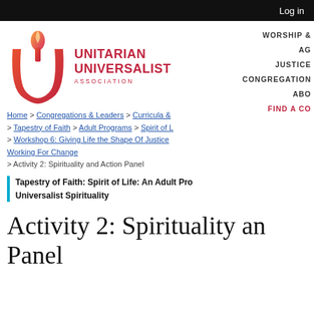Log in
[Figure (logo): Unitarian Universalist Association logo with flame and chalice icon in red-orange gradient, and organization name in red text]
WORSHIP & | AG | JUSTICE | CONGREGATION | ABO | FIND A CO
Home > Congregations & Leaders > Curricula & > Tapestry of Faith > Adult Programs > Spirit of L > Workshop 6: Giving Life the Shape Of Justice Working For Change > Activity 2: Spirituality and Action Panel
Tapestry of Faith: Spirit of Life: An Adult Pro Universalist Spirituality
Activity 2: Spirituality and Action Panel